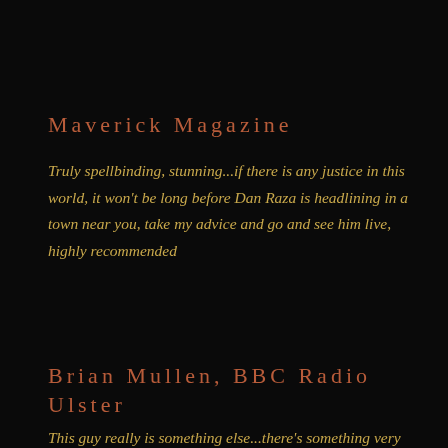Maverick Magazine
Truly spellbinding, stunning...if there is any justice in this world, it won't be long before Dan Raza is headlining in a town near you, take my advice and go and see him live, highly recommended
Brian Mullen, BBC Radio Ulster
This guy really is something else...there's something very